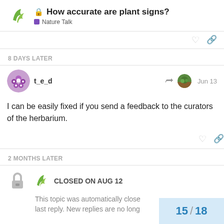How accurate are plant signs? — Nature Talk
8 DAYS LATER
t_e_d — Jun 13
I can be easily fixed if you send a feedback to the curators of the herbarium.
2 MONTHS LATER
CLOSED ON AUG 12
This topic was automatically close last reply. New replies are no long
15 / 18